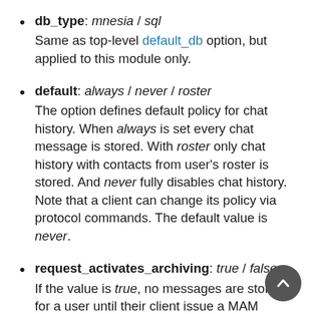db_type: mnesia / sql — Same as top-level default_db option, but applied to this module only.
default: always / never / roster — The option defines default policy for chat history. When always is set every chat message is stored. With roster only chat history with contacts from user's roster is stored. And never fully disables chat history. Note that a client can change its policy via protocol commands. The default value is never.
request_activates_archiving: true / false — If the value is true, no messages are stored for a user until their client issue a MAM request, regardless of the value of the default option. Once the server received a request, that user's messages are archived as usual.